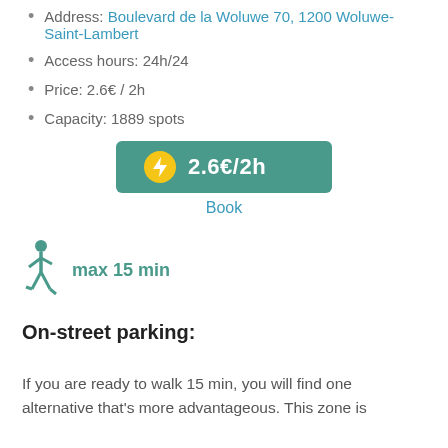Address: Boulevard de la Woluwe 70, 1200 Woluwe-Saint-Lambert
Access hours: 24h/24
Price: 2.6€ / 2h
Capacity: 1889 spots
[Figure (infographic): Teal booking button with yellow lightning bolt circle icon showing price 2.6€/2h, and a 'Book' link below it]
[Figure (infographic): Teal walking person icon with text 'max 15 min' in teal]
On-street parking:
If you are ready to walk 15 min, you will find one alternative that's more advantageous. This zone is